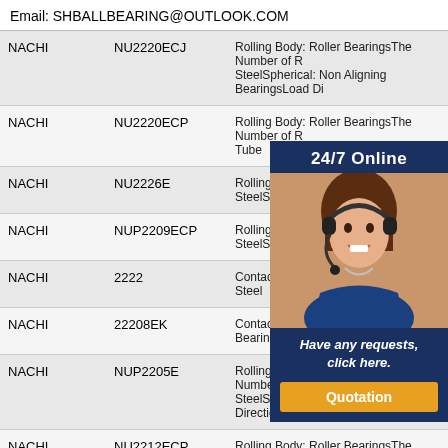Email: SHBALLBEARING@OUTLOOK.COM
| Brand | Model | Description |
| --- | --- | --- |
| NACHI | NU2220ECJ | Rolling Body: Roller BearingsThe Number of R... SteelSpherical: Non Aligning BearingsLoad Di... |
| NACHI | NU2220ECP | Rolling Body: Roller BearingsThe Number of R... Tube |
| NACHI | NU2226E | Rolling Body: Roller Be... SteelSpherical: Non Ali... |
| NACHI | NUP2209ECP | Rolling Body: Roller Be... SteelSpherical: Aligning... |
| NACHI | 2222 | Contact Angle: 0°Aligni... Steel |
| NACHI | 22208EK | Contact Angle: 0Alignin... Bearing Steel |
| NACHI | NUP2205E | Rolling Body: Roller BearingsThe Number of R... SteelSpherical: Aligning BearingsLoad Directio... |
| NACHI | NU2212ECP | Rolling Body: Roller BearingsThe Number of R... |
[Figure (photo): Customer service representative with headset, overlay widget showing 24/7 Online support, Have any requests click here, and Quotation button]